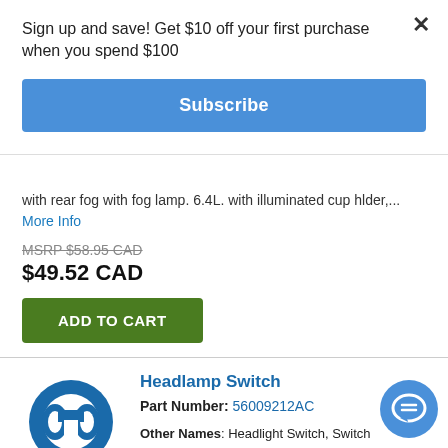Sign up and save! Get $10 off your first purchase when you spend $100
Subscribe
with rear fog with fog lamp. 6.4L. with illuminated cup hlder,... More Info
MSRP $58.95 CAD
$49.52 CAD
ADD TO CART
[Figure (logo): Mopar logo — blue circular M emblem above MOPAR. text]
Headlamp Switch
Part Number: 56009212AC
Other Names: Headlight Switch, Switch
Replaces: 56009212
Description: All models. With auto lamp Automatic Controled Headlights. Fog Lamp
MSRP $215.00 CAD